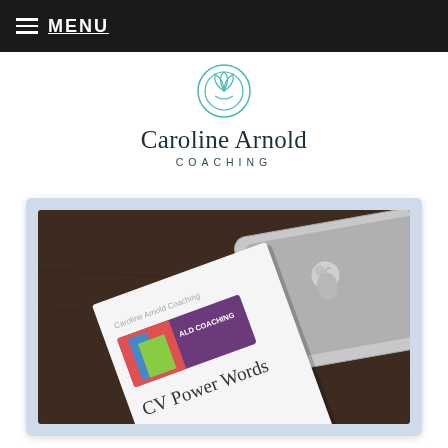MENU
[Figure (logo): Caroline Arnold Coaching logo — teal circular lotus/gem icon with text 'Caroline Arnold COACHING']
[Figure (photo): Photo of a white booklet titled 'CV Power Words' with a Caroline Arnold Coaching branded card on top, placed on a dark wood desk beside a MacBook laptop]